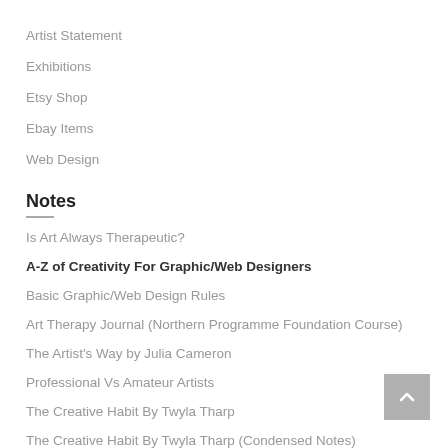Artist Statement
Exhibitions
Etsy Shop
Ebay Items
Web Design
Notes
Is Art Always Therapeutic?
A-Z of Creativity For Graphic/Web Designers
Basic Graphic/Web Design Rules
Art Therapy Journal (Northern Programme Foundation Course)
The Artist's Way by Julia Cameron
Professional Vs Amateur Artists
The Creative Habit By Twyla Tharp
The Creative Habit By Twyla Tharp (Condensed Notes)
Articles